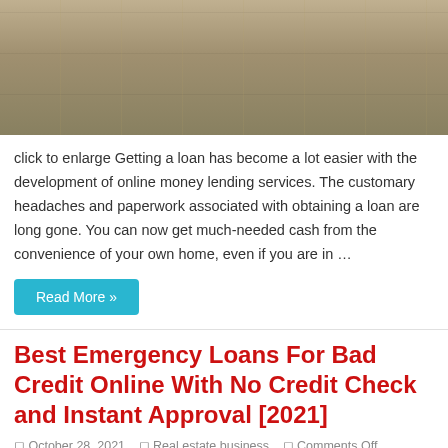[Figure (photo): Photo of US dollar bills fanned out on a surface, seen from above]
click to enlarge Getting a loan has become a lot easier with the development of online money lending services. The customary headaches and paperwork associated with obtaining a loan are long gone. You can now get much-needed cash from the convenience of your own home, even if you are in …
Read More »
Best Emergency Loans For Bad Credit Online With No Credit Check and Instant Approval [2021]
October 28, 2021   Real estate business   Comments Off
[Figure (photo): Close-up photo of a hand holding cash/dollar bills against a dark background]